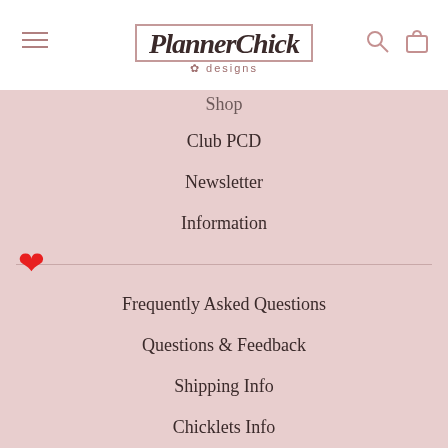[Figure (logo): PlannerChick Designs logo with cursive script in a rose gold bordered box, with 'designs' subtitle below]
Shop
Club PCD
Newsletter
Information
Frequently Asked Questions
Questions & Feedback
Shipping Info
Chicklets Info
Contact Us